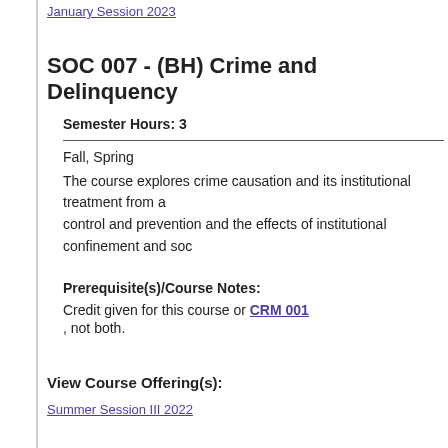January Session 2023
SOC 007 - (BH) Crime and Delinquency
Semester Hours: 3
Fall, Spring
The course explores crime causation and its institutional treatment from a control and prevention and the effects of institutional confinement and soc
Prerequisite(s)/Course Notes:
Credit given for this course or CRM 001 , not both.
View Course Offering(s):
Summer Session III 2022